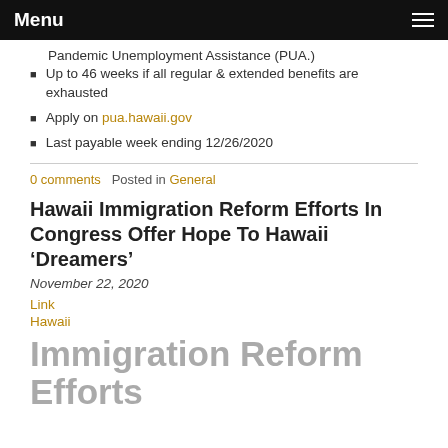Menu
Pandemic Unemployment Assistance (PUA.)
Up to 46 weeks if all regular & extended benefits are exhausted
Apply on pua.hawaii.gov
Last payable week ending 12/26/2020
0 comments   Posted in General
Hawaii Immigration Reform Efforts In Congress Offer Hope To Hawaii ‘Dreamers’
November 22, 2020
Link
Hawaii
Immigration Reform Efforts